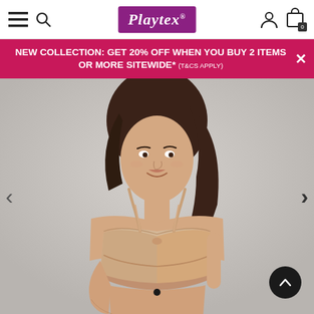Playtex navigation bar with hamburger menu, search icon, Playtex logo, user icon, and cart (0)
NEW COLLECTION: GET 20% OFF WHEN YOU BUY 2 ITEMS OR MORE SITEWIDE* (T&CS APPLY)
[Figure (photo): Product photo: female model wearing a nude/beige underwire bra against a light grey background. Navigation arrows visible on left and right sides. Dot carousel indicator at bottom center. Scroll-up button at bottom right.]